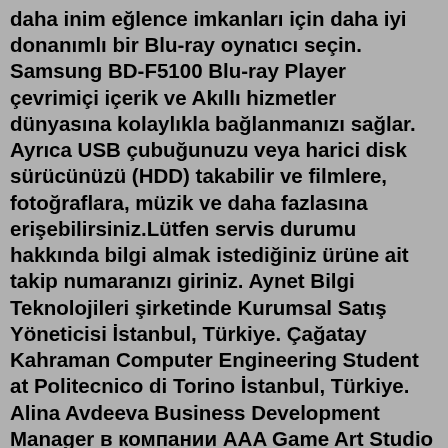daha inim eğlence imkanları için daha iyi donanımlı bir Blu-ray oynatıcı seçin. Samsung BD-F5100 Blu-ray Player çevrimiçi içerik ve Akıllı hizmetler dünyasına kolaylıkla bağlanmanızı sağlar. Ayrıca USB çubuğunuzu veya harici disk sürücünüzü (HDD) takabilir ve filmlere, fotoğraflara, müzik ve daha fazlasına erişebilirsiniz.Lütfen servis durumu hakkında bilgi almak istediğiniz ürüne ait takip numaranızı giriniz. Aynet Bilgi Teknolojileri şirketinde Kurumsal Satış Yöneticisi İstanbul, Türkiye. Çağatay Kahraman Computer Engineering Student at Politecnico di Torino İstanbul, Türkiye. Alina Avdeeva Business Development Manager в компании AAA Game Art Studio Kiev. Arif Numan Göral Entrepreneur - UI designer ...Aynet Teknoloji. Giyimkent, Istanbul, Turkey. Contact Now Turkish Sun Dried Figs. FOB Price: ( Negotiable ) Get Latest Price Payment Terms: T/T, L/C Business Type: ... Aynet Teknoloji Servis Garanti Kapsamında Onarım Sağlamıyor! Kamera donması şebeke pil ve wi-fi problemleri için Erzurum Aynet servisine